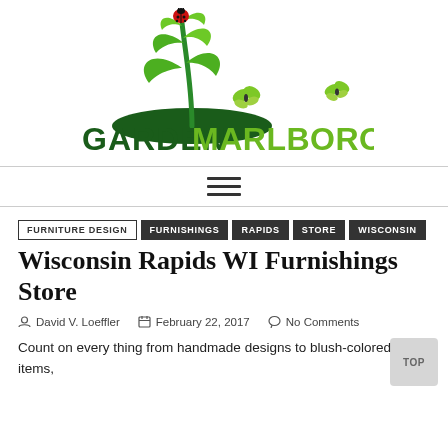[Figure (logo): Garden Marlborough logo with plant, ladybug, butterflies and bold green text]
Navigation menu hamburger icon
FURNITURE DESIGN
FURNISHINGS
RAPIDS
STORE
WISCONSIN
Wisconsin Rapids WI Furnishings Store
David V. Loeffler   February 22, 2017   No Comments
Count on every thing from handmade designs to blush-colored items,